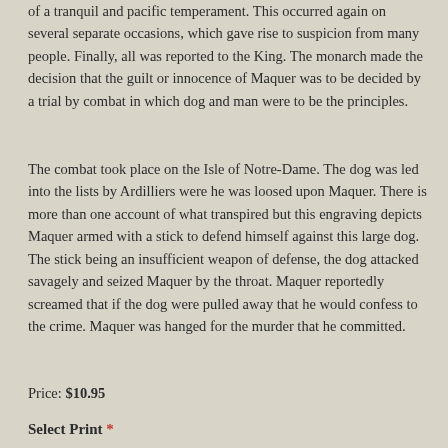of a tranquil and pacific temperament. This occurred again on several separate occasions, which gave rise to suspicion from many people. Finally, all was reported to the King. The monarch made the decision that the guilt or innocence of Maquer was to be decided by a trial by combat in which dog and man were to be the principles.
The combat took place on the Isle of Notre-Dame. The dog was led into the lists by Ardilliers were he was loosed upon Maquer. There is more than one account of what transpired but this engraving depicts Maquer armed with a stick to defend himself against this large dog. The stick being an insufficient weapon of defense, the dog attacked savagely and seized Maquer by the throat. Maquer reportedly screamed that if the dog were pulled away that he would confess to the crime. Maquer was hanged for the murder that he committed.
Price: $10.95
Select Print *